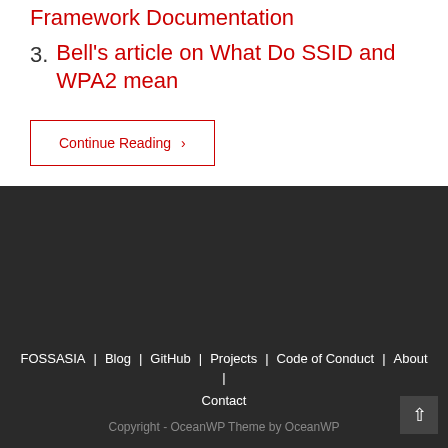Framework Documentation
3. Bell's article on What Do SSID and WPA2 mean
Continue Reading ›
FOSSASIA | Blog | GitHub | Projects | Code of Conduct | About | Contact
Copyright - OceanWP Theme by OceanWP